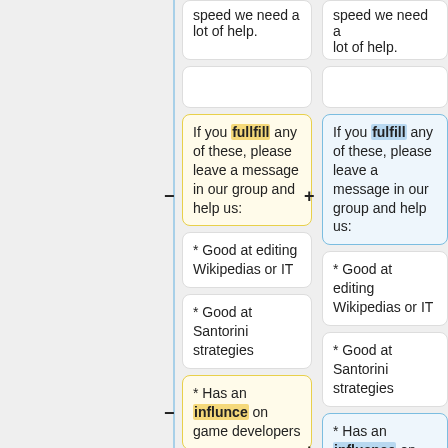speed we need a lot of help. [partial, top]
speed we need a lot of help. [partial, top, right column]
[empty card]
[empty card right]
If you fullfill any of these, please leave a message in our group and help us:
If you fulfill any of these, please leave a message in our group and help us:
* Good at editing Wikipedias or IT
* Good at editing Wikipedias or IT
* Good at Santorini strategies
* Good at Santorini strategies
* Has an influnce on game developers
* Has an influence on game developers
[empty card]
[empty card right]
Thank you. Here
Thank you. Here